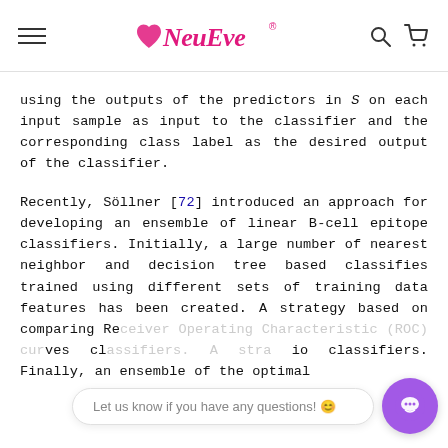NewEve [logo with hamburger menu, search icon, cart icon]
using the outputs of the predictors in S on each input sample as input to the classifier and the corresponding class label as the desired output of the classifier.
Recently, Söllner [72] introduced an approach for developing an ensemble of linear B-cell epitope classifiers. Initially, a large number of nearest neighbor and decision tree based classifies trained using different sets of training data features has been created. A strategy based on comparing Receiver Operating Characteristic (ROC) curves cl... io classifiers. Finally, an ensemble of the optimal